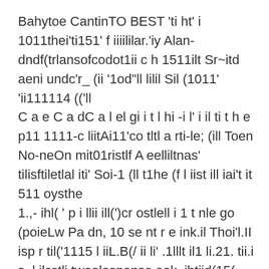Bahytoe CantinTO BEST 'ti ht' i 1011thei'ti151' f iiiililar.'iy Alan-dndf(trlansofcodot1ii c h 1511ilt Sr~itd aeni undc'r_ (ii '1od"ll lilil Sil (1011' 'ii111114 (('ll C a e C a dC a l el gi i t l hi -i l' i il ti t h e p11 1111-c liitAi11'co tltl a rti-le; (ill Toen No-neOn mit01ristlf A eelliltnas' tilisftiletlal iti' Soi-1 (ll t1he (f l iist ill iai't it 511 oysthe 1.,- ihl( ' p i llii ill(')cr ostlell i 1 t nle go (poieLw Pa dn, 10 se nt r e ink.il Thoi'l.II isp r til('1115 l iiL.B(/ ii li' .1lllt il1 li.21. tii.i s~l ilcstli twoolesponse eek. jhtiid(15(